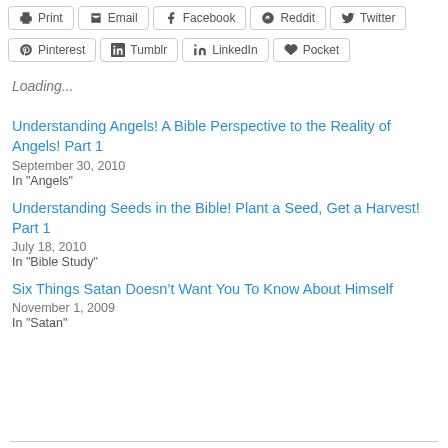Print
Email
Facebook
Reddit
Twitter
Pinterest
Tumblr
LinkedIn
Pocket
Loading...
Understanding Angels! A Bible Perspective to the Reality of Angels! Part 1
September 30, 2010
In "Angels"
Understanding Seeds in the Bible! Plant a Seed, Get a Harvest! Part 1
July 18, 2010
In "Bible Study"
Six Things Satan Doesn’t Want You To Know About Himself
November 1, 2009
In "Satan"